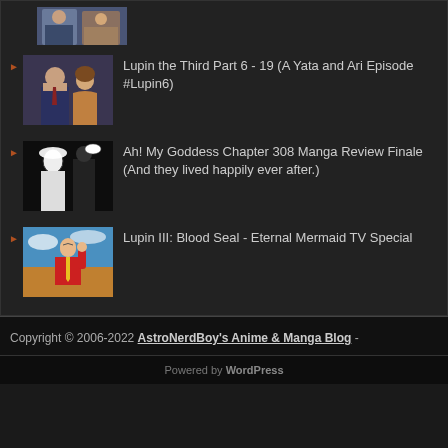[Figure (illustration): Partial anime thumbnail at top, cropped — showing two characters (a man in suit and a woman), dark background]
Lupin the Third Part 6 - 19 (A Yata and Ari Episode #Lupin6)
[Figure (illustration): Anime thumbnail for Lupin the Third Part 6 - two characters, male with tie and female, dark tones]
Ah! My Goddess Chapter 308 Manga Review Finale (And they lived happily ever after.)
[Figure (illustration): Black and white manga thumbnail showing two characters in wedding attire]
Lupin III: Blood Seal - Eternal Mermaid TV Special
[Figure (illustration): Anime thumbnail showing Lupin III character in red jacket with yellow tie, raising arm, sky background]
Copyright © 2006-2022 AstroNerdBoy's Anime & Manga Blog -
Powered by WordPress